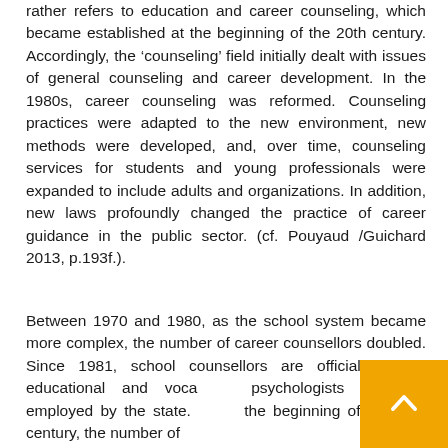rather refers to education and career counseling, which became established at the beginning of the 20th century. Accordingly, the 'counseling' field initially dealt with issues of general counseling and career development. In the 1980s, career counseling was reformed. Counseling practices were adapted to the new environment, new methods were developed, and, over time, counseling services for students and young professionals were expanded to include adults and organizations. In addition, new laws profoundly changed the practice of career guidance in the public sector. (cf. Pouyaud /Guichard 2013, p.193f.).
Between 1970 and 1980, as the school system became more complex, the number of career counsellors doubled. Since 1981, school counsellors are officially called educational and vocational psychologists and are employed by the state. Since the beginning of the 21st century, the number of